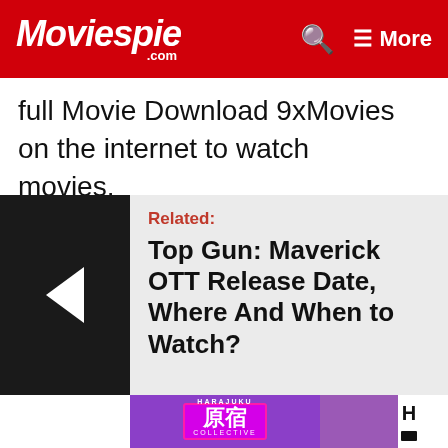Moviespie.com | More
full Movie Download 9xMovies on the internet to watch movies.
[Figure (other): Related article thumbnail with left-pointing arrow on black background]
Related: Top Gun: Maverick OTT Release Date, Where And When to Watch?
[Figure (other): Harajuku Collective advertisement banner with purple background, Japanese kanji text in pink box, and two female figures in stylized costumes]